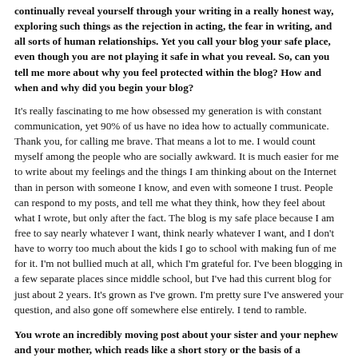continually reveal yourself through your writing in a really honest way, exploring such things as the rejection in acting, the fear in writing, and all sorts of human relationships. Yet you call your blog your safe place, even though you are not playing it safe in what you reveal. So, can you tell me more about why you feel protected within the blog? How and when and why did you begin your blog?
It's really fascinating to me how obsessed my generation is with constant communication, yet 90% of us have no idea how to actually communicate. Thank you, for calling me brave. That means a lot to me. I would count myself among the people who are socially awkward. It is much easier for me to write about my feelings and the things I am thinking about on the Internet than in person with someone I know, and even with someone I trust. People can respond to my posts, and tell me what they think, how they feel about what I wrote, but only after the fact. The blog is my safe place because I am free to say nearly whatever I want, think nearly whatever I want, and I don't have to worry too much about the kids I go to school with making fun of me for it. I'm not bullied much at all, which I'm grateful for. I've been blogging in a few separate places since middle school, but I've had this current blog for just about 2 years. It's grown as I've grown. I'm pretty sure I've answered your question, and also gone off somewhere else entirely. I tend to ramble.
You wrote an incredibly moving post about your sister and your nephew and your mother, which reads like a short story or the basis of a wonderful novel. Is it? And is your life the basis of your writing work?